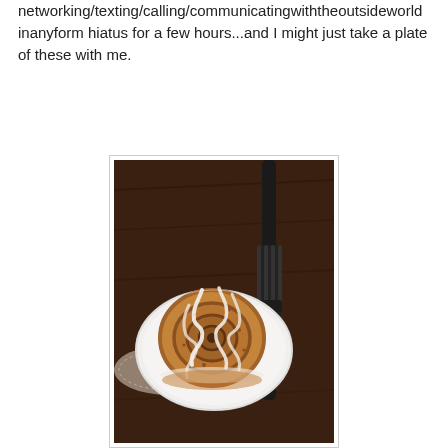networking/texting/calling/communicatingwiththeoutsideworld inanyform hiatus for a few hours...and I might just take a plate of these with me.
[Figure (photo): Overhead photo of a glazed cinnamon roll on a white plate with a dark fork, placed on a wooden table surface with a decorative cloth underneath.]